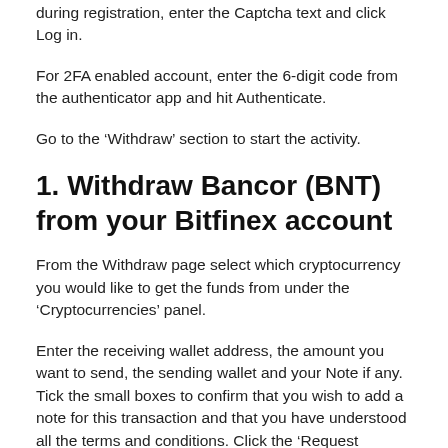during registration, enter the Captcha text and click Log in.
For 2FA enabled account, enter the 6-digit code from the authenticator app and hit Authenticate.
Go to the ‘Withdraw’ section to start the activity.
1. Withdraw Bancor (BNT) from your Bitfinex account
From the Withdraw page select which cryptocurrency you would like to get the funds from under the ‘Cryptocurrencies’ panel.
Enter the receiving wallet address, the amount you want to send, the sending wallet and your Note if any. Tick the small boxes to confirm that you wish to add a note for this transaction and that you have understood all the terms and conditions. Click the ‘Request Withdrawal’ button to proceed. Also before sending the